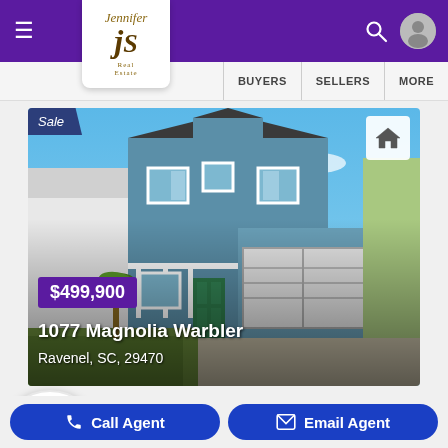JS Real Estate — navigation bar with hamburger menu, logo, search, user icon, BUYERS, SELLERS, MORE
[Figure (photo): Exterior photo of a two-story blue/teal house with white trim, two-car garage, and landscaping. Badge: Sale. Price: $499,900. Address: 1077 Magnolia Warbler, Ravenel, SC, 29470]
[Figure (photo): Exterior dusk photo of a house with trees and purple-pink sky. Label: Under Contract]
Call Agent | Email Agent